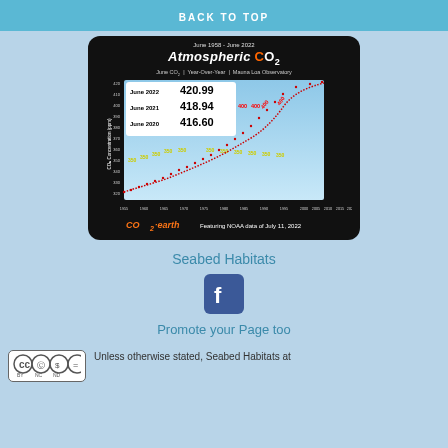BACK TO TOP
[Figure (continuous-plot): Atmospheric CO2 line chart from June 1958 to June 2022, showing Mauna Loa Observatory data. Title: 'June 1958 - June 2022 Atmospheric CO2'. Subtitle: 'June CO2 | Year-Over-Year | Mauna Loa Observatory'. Shows readings: June 2022: 420.99, June 2021: 418.94, June 2020: 416.60. Red dotted curve rising from ~315 ppm in 1958 to ~421 ppm in 2022. Yellow '350' markers and red '400' markers annotate threshold lines. X-axis: years 1955-2020. Y-axis: CO2 Concentration (ppm) from ~315 to ~420. Footer: CO2.earth Featuring NOAA data of July 11, 2022.]
Seabed Habitats
[Figure (logo): Facebook logo icon - white 'f' on blue square background]
Promote your Page too
[Figure (logo): Creative Commons license badge: CC BY NC ND]
Unless otherwise stated, Seabed Habitats at